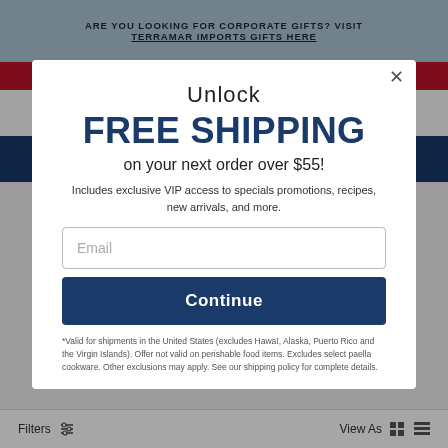ARE YOU LOOKING FOR CORPORATE GIFTS? VISIT TERRAMAR IMPORTS GIFTS HERE
Unlock
FREE SHIPPING
on your next order over $55!
Includes exclusive VIP access to specials promotions, recipes, new arrivals, and more.
Email
Continue
*Valid for shipments in the United States (excludes Hawaii, Alaska, Puerto Rico and the Virgin Islands). Offer not valid on perishable food items. Excludes select paella cookware. Other exclusions may apply. See our shipping policy for complete details.
Filters
View As